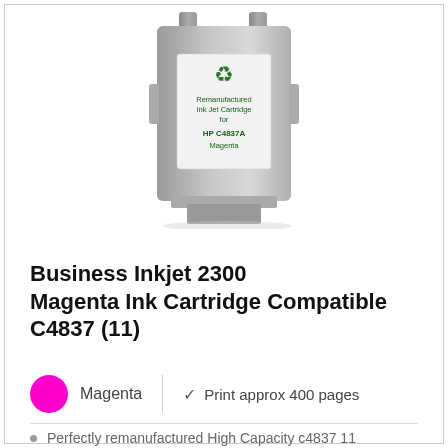[Figure (photo): Photo of a remanufactured ink jet cartridge for HP C4837A Magenta, grey plastic body with green recycling symbol and green text label]
Business Inkjet 2300 Magenta Ink Cartridge Compatible C4837 (11)
Magenta   Print approx 400 pages
Perfectly remanufactured High Capacity c4837 11